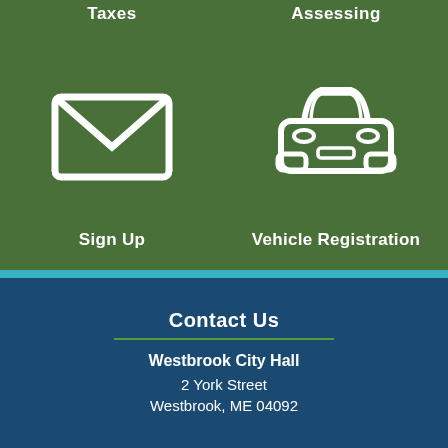Taxes
Assessing
[Figure (illustration): White envelope/mail icon on green background]
[Figure (illustration): White car/vehicle icon on green background]
Sign Up
Vehicle Registration
Contact Us
Westbrook City Hall
2 York Street
Westbrook, ME 04092